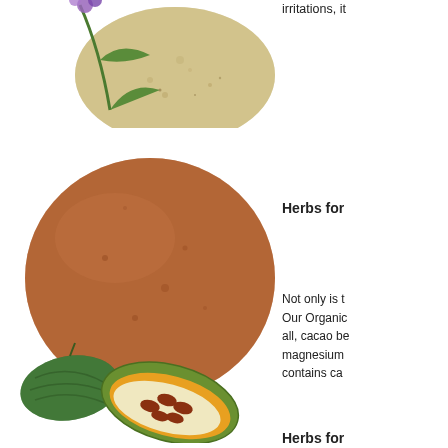[Figure (photo): Herb plant with purple flowers and green leaves above a circular mound of beige/tan powder, cropped at top of page]
irritations, it
Herbs for
Not only is t Our Organic all, cacao be magnesium contains ca
[Figure (photo): Large circular mound of brown cocoa/cacao powder with two cacao pods (one whole green, one halved showing seeds) in front]
So, cocoa p remember t Chocolate f Recipe,  in o these turne
Herbs for